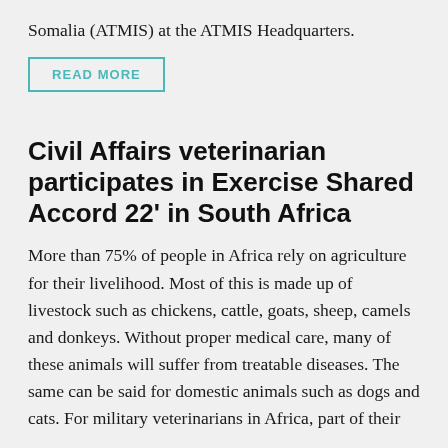Somalia (ATMIS) at the ATMIS Headquarters.
READ MORE
Civil Affairs veterinarian participates in Exercise Shared Accord 22' in South Africa
More than 75% of people in Africa rely on agriculture for their livelihood. Most of this is made up of livestock such as chickens, cattle, goats, sheep, camels and donkeys. Without proper medical care, many of these animals will suffer from treatable diseases. The same can be said for domestic animals such as dogs and cats. For military veterinarians in Africa, part of their